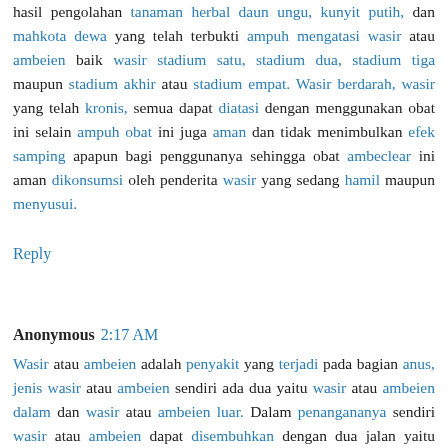hasil pengolahan tanaman herbal daun ungu, kunyit putih, dan mahkota dewa yang telah terbukti ampuh mengatasi wasir atau ambeien baik wasir stadium satu, stadium dua, stadium tiga maupun stadium akhir atau stadium empat. Wasir berdarah, wasir yang telah kronis, semua dapat diatasi dengan menggunakan obat ini selain ampuh obat ini juga aman dan tidak menimbulkan efek samping apapun bagi penggunanya sehingga obat ambeclear ini aman dikonsumsi oleh penderita wasir yang sedang hamil maupun menyusui.
Reply
Anonymous 2:17 AM
Wasir atau ambeien adalah penyakit yang terjadi pada bagian anus, jenis wasir atau ambeien sendiri ada dua yaitu wasir atau ambeien dalam dan wasir atau ambeien luar. Dalam penangananya sendiri wasir atau ambeien dapat disembuhkan dengan dua jalan yaitu pengobatan medis dan pengobatan non medis atau pengobatan alternatif. Pengobatan alternatif disini salah satu pilihannya